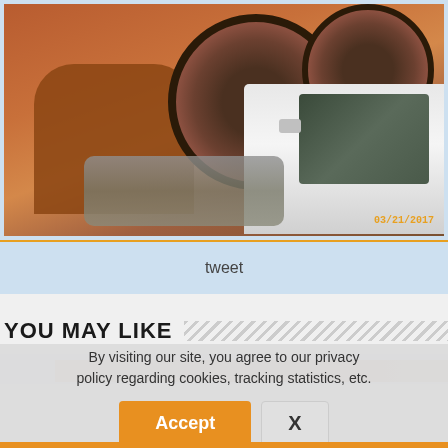[Figure (photo): Outdoor scene dated 03/21/2017 showing large cable spools/reels on a vehicle, parked near a brick arch wall. A white car is visible on the right side. Debris and dirt ground visible. Timestamp in orange reads 03/21/2017.]
tweet
YOU MAY LIKE
By visiting our site, you agree to our privacy policy regarding cookies, tracking statistics, etc.
Accept
X